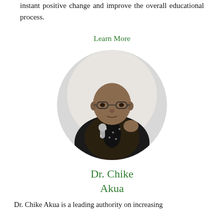instant positive change and improve the overall educational process.
Learn More
[Figure (photo): Portrait photo of Dr. Chike Akua, a bald man wearing glasses and a black and gold patterned jacket, holding a microphone and gesturing while speaking. The photo is cropped in a circular frame.]
Dr. Chike Akua
Dr. Chike Akua is a leading authority on increasing the achievement of students through culturally...